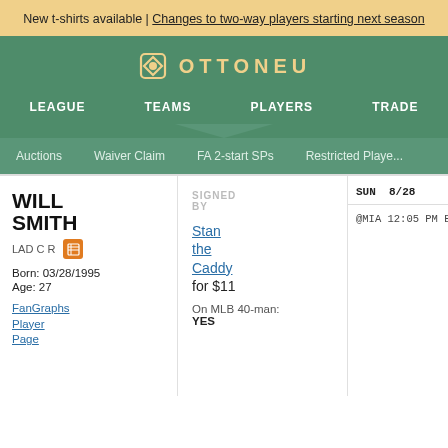New t-shirts available | Changes to two-way players starting next season
[Figure (logo): Ottoneu logo with diamond icon and text OTTONEU]
LEAGUE  TEAMS  PLAYERS  TRADE
Auctions  Waiver Claim  FA 2-start SPs  Restricted Players
WILL SMITH
LAD C R
Born: 03/28/1995
Age: 27
FanGraphs Player Page
SIGNED BY
Stan the Caddy for $11
On MLB 40-man: YES
| SUN 8/28 | MON 8/29 | TUE 8/... |
| --- | --- | --- |
| @MIA 12:05 PM EDT | @MIA 6:40 PM EDT | @NYM 7:1... |